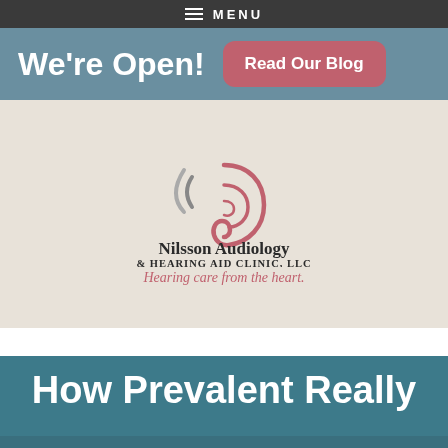MENU
We're Open!
Read Our Blog
[Figure (logo): Nilsson Audiology & Hearing Aid Clinic, LLC logo with ear/sound wave graphic and tagline 'Hearing care from the heart.']
How Prevalent Really
Request Appointment